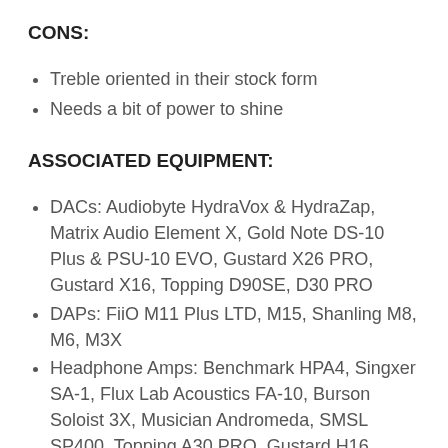CONS:
Treble oriented in their stock form
Needs a bit of power to shine
ASSOCIATED EQUIPMENT:
DACs: Audiobyte HydraVox & HydraZap, Matrix Audio Element X, Gold Note DS-10 Plus & PSU-10 EVO, Gustard X26 PRO, Gustard X16, Topping D90SE, D30 PRO
DAPs: FiiO M11 Plus LTD, M15, Shanling M8, M6, M3X
Headphone Amps: Benchmark HPA4, Singxer SA-1, Flux Lab Acoustics FA-10, Burson Soloist 3X, Musician Andromeda, SMSL SP400, Topping A30 PRO, Gustard H16
Power Amps: KECES S300, SMSL SA400, DA-9
IEMs: FiiO FA9, FH7, FH5S, FD5, Meze Rai Penta,